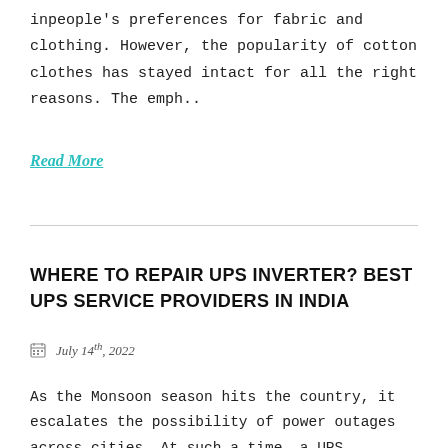inpeople's preferences for fabric and clothing. However, the popularity of cotton clothes has stayed intact for all the right reasons. The emph..
Read More
WHERE TO REPAIR UPS INVERTER? BEST UPS SERVICE PROVIDERS IN INDIA
July 14th, 2022
As the Monsoon season hits the country, it escalates the possibility of power outages across cities. At such a time, a UPS inverterbecomes an inevitable necessity. It is a great